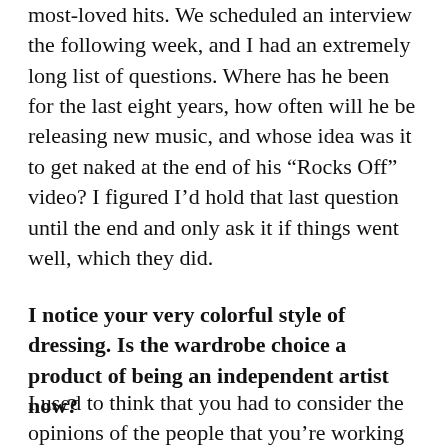most-loved hits. We scheduled an interview the following week, and I had an extremely long list of questions. Where has he been for the last eight years, how often will he be releasing new music, and whose idea was it to get naked at the end of his “Rocks Off” video? I figured I’d hold that last question until the end and only ask it if things went well, which they did.
I notice your very colorful style of dressing. Is the wardrobe choice a product of being an independent artist now?
I used to think that you had to consider the opinions of the people that you’re working with, because they work so hard and they’re so